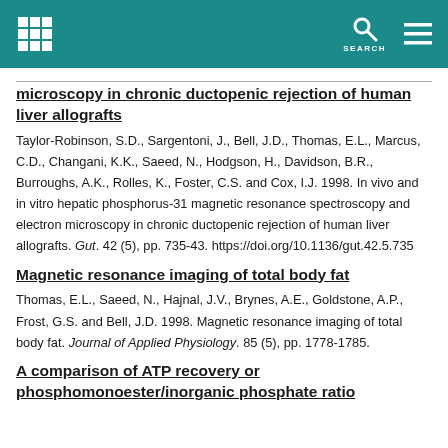SEARCH
microscopy in chronic ductopenic rejection of human liver allografts
Taylor-Robinson, S.D., Sargentoni, J., Bell, J.D., Thomas, E.L., Marcus, C.D., Changani, K.K., Saeed, N., Hodgson, H., Davidson, B.R., Burroughs, A.K., Rolles, K., Foster, C.S. and Cox, I.J. 1998. In vivo and in vitro hepatic phosphorus-31 magnetic resonance spectroscopy and electron microscopy in chronic ductopenic rejection of human liver allografts. Gut. 42 (5), pp. 735-43. https://doi.org/10.1136/gut.42.5.735
Magnetic resonance imaging of total body fat
Thomas, E.L., Saeed, N., Hajnal, J.V., Brynes, A.E., Goldstone, A.P., Frost, G.S. and Bell, J.D. 1998. Magnetic resonance imaging of total body fat. Journal of Applied Physiology. 85 (5), pp. 1778-1785.
A comparison of ATP recovery or phosphomonoester/inorganic phosphate ratio